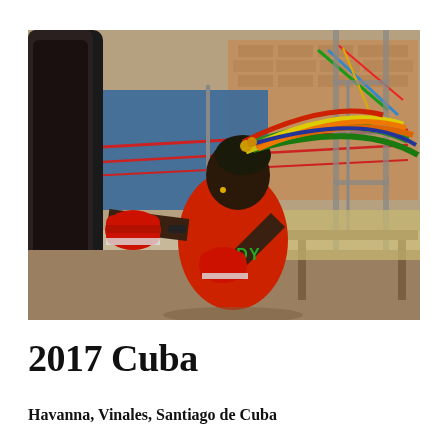[Figure (photo): A young Black woman with colorful braids (green, yellow, orange, red) wearing a red 'LADY' boxing tank top and red boxing gloves, punching a heavy bag in an outdoor boxing gym with ropes, scaffolding, and colorful equipment visible in the background. Photo taken in Cuba.]
2017 Cuba
Havanna, Vinales, Santiago de Cuba